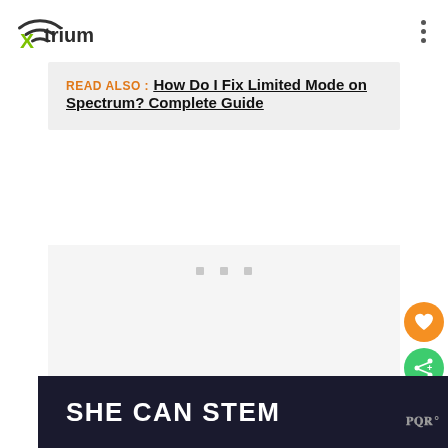Xtrium
READ ALSO : How Do I Fix Limited Mode on Spectrum? Complete Guide
[Figure (other): Advertisement placeholder area with three small grey squares]
[Figure (other): Orange circular heart/favorite button and green circular share button floating on the right side]
[Figure (other): Dark banner with text SHE CAN STEM and a wordmark on the right]